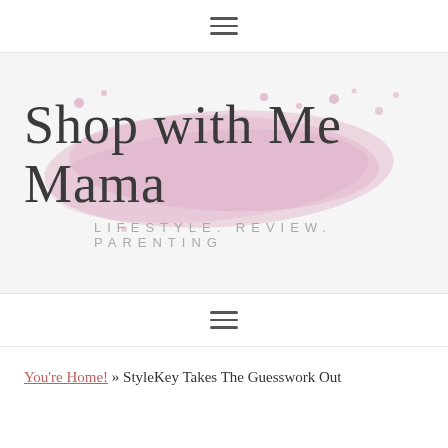≡ (hamburger menu)
[Figure (logo): Shop with Me Mama logo — cursive/script text reading 'Shop with Me Mama' over a pink watercolor brushstroke background, with subtitle 'LIFESTYLE. REVIEW. PARENTING' in spaced grey caps. Pink dots scattered around.]
≡ (hamburger menu)
You're Home! » StyleKey Takes The Guesswork Out